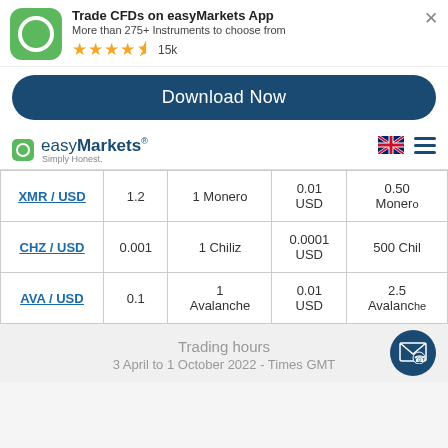[Figure (screenshot): App ad banner with easyMarkets green logo, title 'Trade CFDs on easyMarkets App', subtitle 'More than 275+ Instruments to choose from', 4.5 star rating and 15k reviews, close button X]
Download Now
[Figure (logo): easyMarkets logo with green square icon and text 'easyMarkets Simply Honest.' with UK flag and hamburger menu]
|  |  |  |  |  |
| --- | --- | --- | --- | --- |
| XMR / USD | 1.2 | 1 Monero | 0.01 USD | 0.50 Monero |
| CHZ / USD | 0.001 | 1 Chiliz | 0.0001 USD | 500 Chil |
| AVA / USD | 0.1 | 1 Avalanche | 0.01 USD | 2.5 Avalanche |
Trading hours
3 April to 1 October 2022 - Times GMT